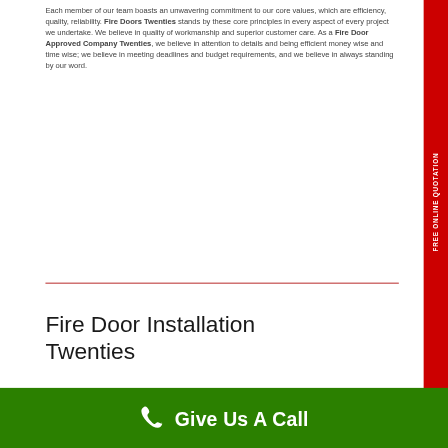Each member of our team boasts an unwavering commitment to our core values, which are efficiency, quality, reliability. Fire Doors Twenties stands by these core principles in every aspect of every project we undertake. We believe in quality of workmanship and superior customer care. As a Fire Door Approved Company Twenties, we believe in attention to details and being efficient money wise and time wise; we believe in meeting deadlines and budget requirements, and we believe in always standing by our word.
Fire Door Installation Twenties
FREE ONLINE QUOTATION
Give Us A Call